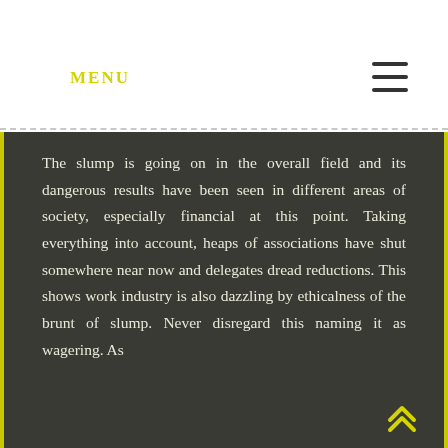MENU
The slump is going on in the overall field and its dangerous results have been seen in different areas of society, especially financial at this point. Taking everything into account, heaps of associations have shut somewhere near now and delegates dread reductions. This shows work industry is also dazzling by ethicalness of the brunt of slump. Never disregard this naming it as wagering. As